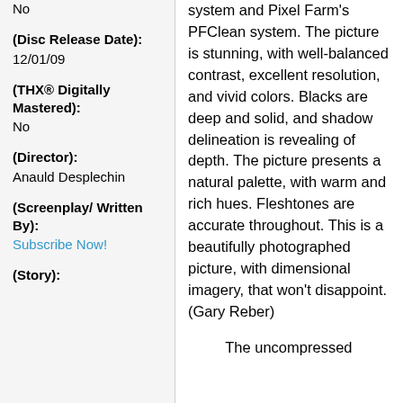No
(Disc Release Date):
12/01/09
(THX® Digitally Mastered):
No
(Director):
Anauld Desplechin
(Screenplay/ Written By):
Subscribe Now!
(Story):
system and Pixel Farm's PFClean system. The picture is stunning, with well-balanced contrast, excellent resolution, and vivid colors. Blacks are deep and solid, and shadow delineation is revealing of depth. The picture presents a natural palette, with warm and rich hues. Fleshtones are accurate throughout. This is a beautifully photographed picture, with dimensional imagery, that won't disappoint. (Gary Reber)
The uncompressed